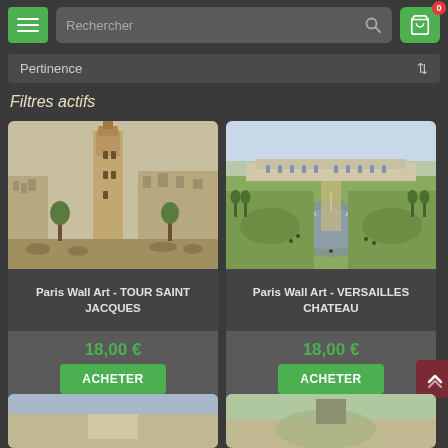Rechercher — navigation bar with menu, search field, and cart (0)
Pertinence
Filtres actifs
[Figure (photo): Paris Wall Art - Tour Saint Jacques painting showing a tall Gothic tower in a Parisian boulevard]
Paris Wall Art - TOUR SAINT JACQUES
18,00 €
ACHETER
[Figure (photo): Paris Wall Art - Versailles Chateau painting showing aerial view of the palace gardens with fountains]
Paris Wall Art - VERSAILLES CHATEAU
18,00 €
ACHETER
[Figure (photo): Partial product card at bottom left — cropped painting]
[Figure (photo): Partial product card at bottom right — cropped painting]